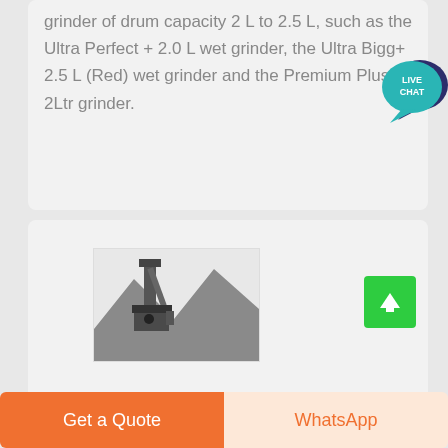grinder of drum capacity 2 L to 2.5 L, such as the Ultra Perfect + 2.0 L wet grinder, the Ultra Bigg+ 2.5 L (Red) wet grinder and the Premium Plus 2Ltr grinder.
[Figure (illustration): Live Chat speech bubble icon in teal/blue color with white text 'LIVE CHAT']
[Figure (photo): Industrial grinder/mining equipment photograph on white background]
Get a Quote
WhatsApp